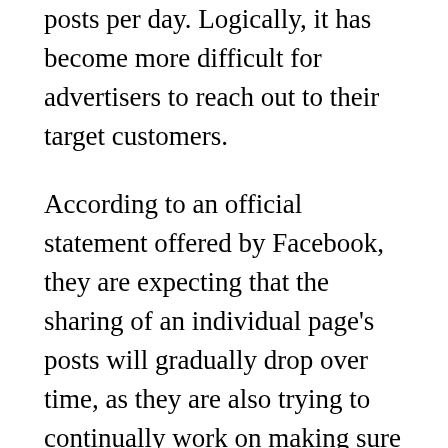posts per day. Logically, it has become more difficult for advertisers to reach out to their target customers.
According to an official statement offered by Facebook, they are expecting that the sharing of an individual page's posts will gradually drop over time, as they are also trying to continually work on making sure that the common people will still have a meaningful experience on the site even with ad interruptions. This simply means that they are going to decrease the visibility of a page update to its respective Facebook followers, regardless if the advertisers even buy Facebook posts at variable costs.